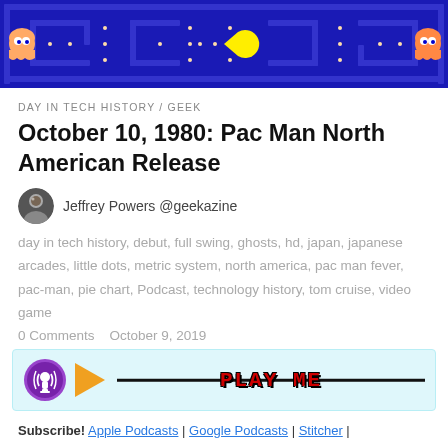[Figure (screenshot): Pac-Man game screenshot banner showing blue maze background with Pac-Man character (yellow circle) in center, ghosts (orange/pink) on sides, and white dots scattered across the maze.]
DAY IN TECH HISTORY / GEEK
October 10, 1980: Pac Man North American Release
Jeffrey Powers @geekazine
day in tech history, debut, full swing, ghosts, hd, japan, japanese arcades, little dots, metric system, north america, pac man fever, pac-man, pie chart, Podcast, technology history, tom cruise, video game
0 Comments    October 9, 2019
[Figure (screenshot): Podcast audio player bar with purple podcast icon on left, orange play button triangle, a horizontal progress line, and red pixelated PLAY ME text in center on light blue background.]
Subscribe! Apple Podcasts | Google Podcasts | Stitcher | RSS | More